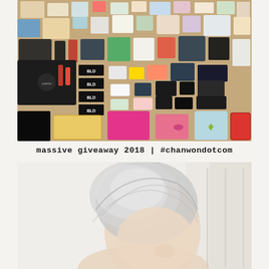[Figure (photo): Overhead flat-lay photo of a large collection of cosmetics, makeup products, skincare items, and beauty accessories arranged on a wooden surface.]
massive giveaway 2018 | #chanwondotcom
[Figure (photo): Close-up photo of a person with light silver/white hair, face tilted upward against a bright, airy background.]